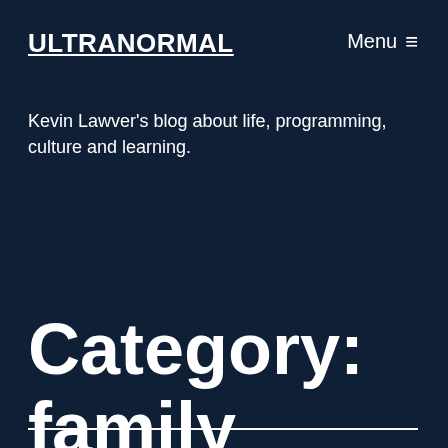ULTRANORMAL
Menu ≡
Kevin Lawver's blog about life, programming, culture and learning.
Category: family